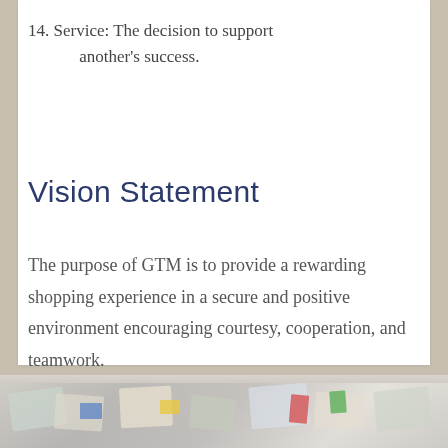14. Service: The decision to support another's success.
Vision Statement
The purpose of GTM is to provide a rewarding shopping experience in a secure and positive environment encouraging courtesy, cooperation, and teamwork.